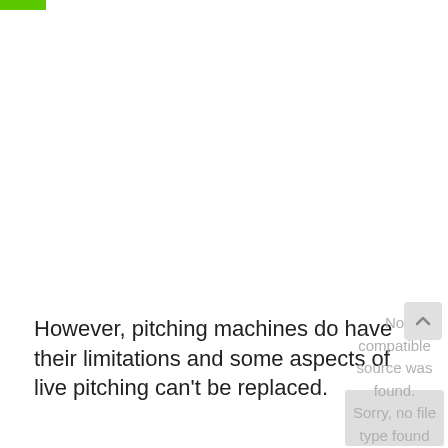However, pitching machines do have their limitations and some aspects of live pitching can't be replaced.
[Figure (other): Broken embedded media element showing error: 'No compatible source was found.' with a down-arrow icon and a partially visible close button.]